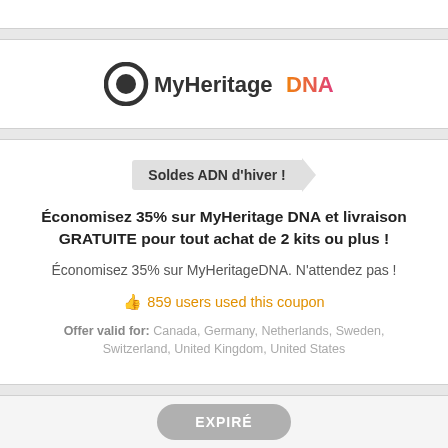[Figure (logo): MyHeritage DNA logo — circular icon with 'MyHeritage' in dark gray and 'DNA' in gradient orange-to-pink]
Soldes ADN d'hiver !
Économisez 35% sur MyHeritage DNA et livraison GRATUITE pour tout achat de 2 kits ou plus !
Économisez 35% sur MyHeritageDNA. N'attendez pas !
859 users used this coupon
Offer valid for: Canada, Germany, Netherlands, Sweden, Switzerland, United Kingdom, United States
EXPIRÉ